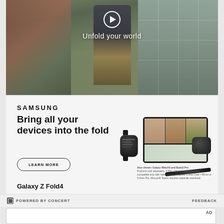[Figure (photo): Video player / promotional banner showing a man walking in an indoor setting (café), with a play button overlay and text 'Unfold your world']
[Figure (advertisement): Samsung Galaxy Z Fold4 advertisement on light gray background showing Samsung brand name, headline 'Bring all your devices into the fold', a LEARN MORE button, and product images including Galaxy Z Fold4 phone, Galaxy Watch5, Galaxy Buds2 Pro, and S Pen]
SAMSUNG
Bring all your devices into the fold
LEARN MORE
Galaxy Z Fold4
Also shown: Galaxy Watch5 and Buds2 Pro. Products sold separately. S Pen optional, sold separately, compatible only with main display. Requires 5.0mm Fold • 40mm or 5.0mm Pro. Microsoft Teams requires separate download.
POWERED BY CONCERT    FEEDBACK
AD